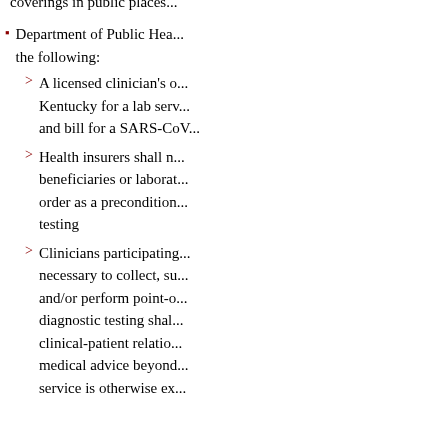coverings in public places...
Department of Public Health... the following:
A licensed clinician's o... Kentucky for a lab serv... and bill for a SARS-CoV...
Health insurers shall n... beneficiaries or laborat... order as a precondition... testing
Clinicians participating... necessary to collect, su... and/or perform point-o... diagnostic testing shal... clinical-patient relatio... medical advice beyond ... service is otherwise ex...